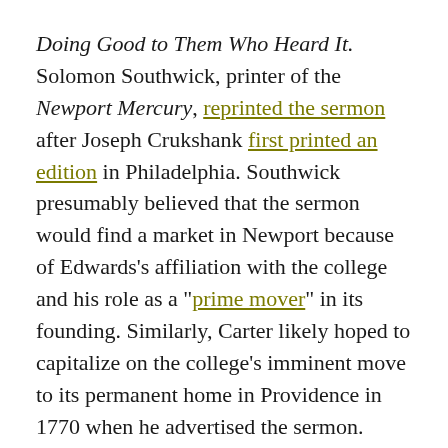Doing Good to Them Who Heard It. Solomon Southwick, printer of the Newport Mercury, reprinted the sermon after Joseph Crukshank first printed an edition in Philadelphia. Southwick presumably believed that the sermon would find a market in Newport because of Edwards's affiliation with the college and his role as a "prime mover" in its founding. Similarly, Carter likely hoped to capitalize on the college's imminent move to its permanent home in Providence in 1770 when he advertised the sermon.
Both printers may have also expected a particular passage in the sermon, one not mentioned in its long and ponderous title,